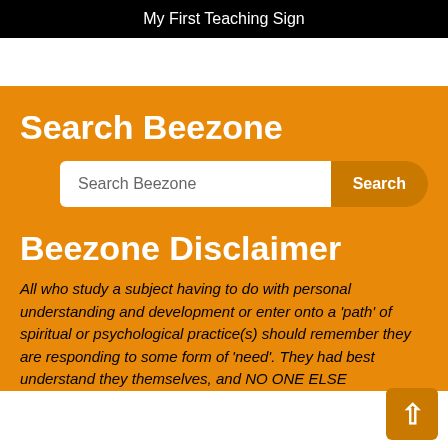My First Teaching Sign
Search Beezone
Search Beezone
Beezone Disclaimer
All who study a subject having to do with personal understanding and development or enter onto a 'path' of spiritual or psychological practice(s) should remember they are responding to some form of 'need'. They had best understand they themselves, and NO ONE ELSE